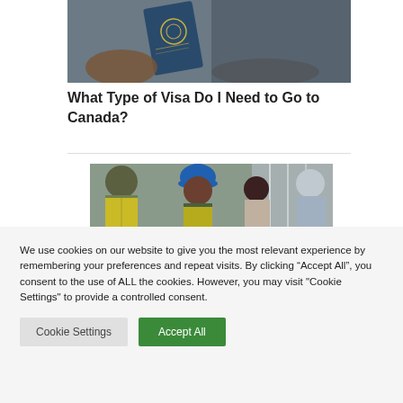[Figure (photo): Close-up of a passport being held by a person, with a leather background]
What Type of Visa Do I Need to Go to Canada?
[Figure (photo): Group of workers at a construction site, one wearing a blue hard hat and yellow safety vest, smiling]
We use cookies on our website to give you the most relevant experience by remembering your preferences and repeat visits. By clicking “Accept All”, you consent to the use of ALL the cookies. However, you may visit "Cookie Settings" to provide a controlled consent.